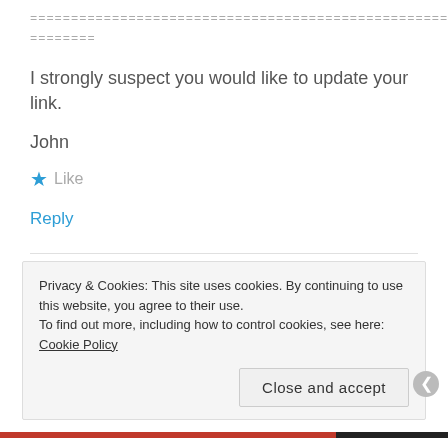================================================================
========
I strongly suspect you would like to update your link.
John
★ Like
Reply
Privacy & Cookies: This site uses cookies. By continuing to use this website, you agree to their use.
To find out more, including how to control cookies, see here: Cookie Policy